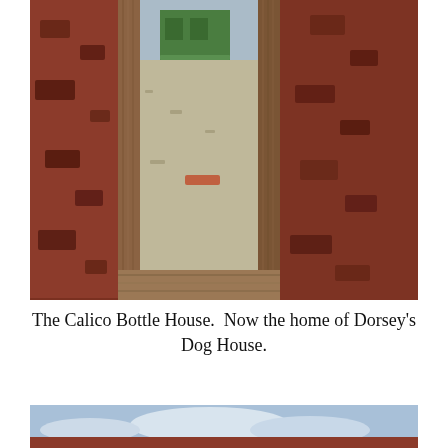[Figure (photo): View through a doorway or window frame made of aged wood set in a rough reddish-brown stone/adobe wall. Through the opening, a dirt street is visible with a small green building in the background. Sunlight illuminates the sandy ground.]
The Calico Bottle House. Now the home of Dorsey's Dog House.
[Figure (photo): Partial view of a building with reddish-brown adobe or stone walls against a blue sky with clouds — bottom portion of image cut off.]